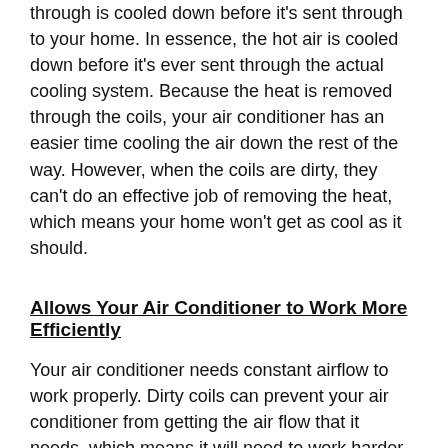through is cooled down before it's sent through to your home. In essence, the hot air is cooled down before it's ever sent through the actual cooling system. Because the heat is removed through the coils, your air conditioner has an easier time cooling the air down the rest of the way. However, when the coils are dirty, they can't do an effective job of removing the heat, which means your home won't get as cool as it should.
Allows Your Air Conditioner to Work More Efficiently
Your air conditioner needs constant airflow to work properly. Dirty coils can prevent your air conditioner from getting the air flow that it needs, which means it will need to work harder. Unfortunately, on a hot day, that additional work can lead to system failure, which will leave you without an air conditioner altogether. You can help your air conditioner work more efficiently, and avoid system failure this summer, by